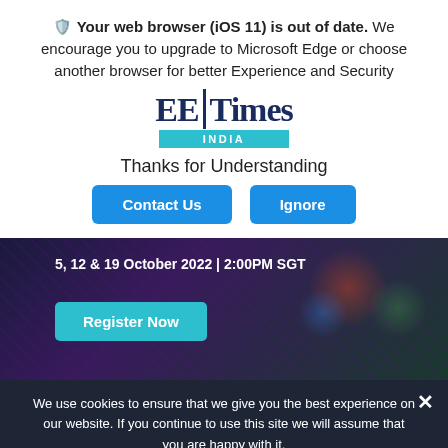Your web browser (iOS 11) is out of date. We encourage you to upgrade to Microsoft Edge or choose another browser for better Experience and Security
[Figure (logo): EE Times India logo with dark blue serif wordmark and teal INDIA bar]
Thanks for Understanding
Contact Us   Ignore
[Figure (screenshot): Webinar banner with dark background showing '5, 12 & 19 October 2022 | 2:00PM SGT' and 'Register Now' button]
We use cookies to ensure that we give you the best experience on our website. If you continue to use this site we will assume that you are happy with it.
Ok
PRODUCTS:   Electronic Products
VS & ANALYSIS   EE Times